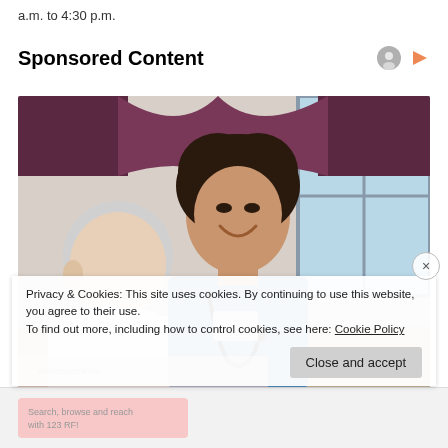a.m. to 4:30 p.m.
Sponsored Content
[Figure (photo): A smiling female nurse in blue scrubs with stethoscope talking to an elderly patient in a medical/care setting.]
Privacy & Cookies: This site uses cookies. By continuing to use this website, you agree to their use.
To find out more, including how to control cookies, see here: Cookie Policy
Close and accept